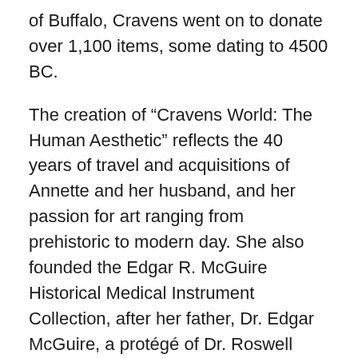of Buffalo, Cravens went on to donate over 1,100 items, some dating to 4500 BC.
The creation of “Cravens World: The Human Aesthetic” reflects the 40 years of travel and acquisitions of Annette and her husband, and her passion for art ranging from prehistoric to modern day. She also founded the Edgar R. McGuire Historical Medical Instrument Collection, after her father, Dr. Edgar McGuire, a protégé of Dr. Roswell Park and his successor as a professor of surgery and medicine at UB.
Both the ancient marble head and the Calder stabile were from Ms. Cravens’ estate. “It was a privilege to work with the Cravens family in marketing this outstanding collection,” said Matt Cottone of Cottone